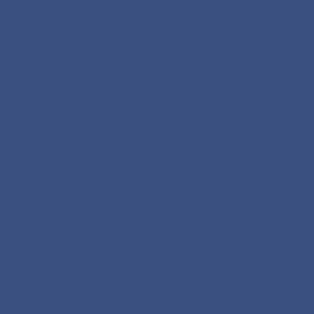AND THE AFTERNOON TRIP C... UP WITH 15 VERY NICE WALL... WITH SCORPION SPOONS.
182
5-18-2010
BETTER FISHING IN BAD WI...
MANAGED TO CAPTURE 27 W... THE NORTHEAST WINDS. USI...
181
5-17-2010
TERRIBLE WEATHER LIKE T...
1ST TRIP WE ENDED UP WITH... CAPTURED 2 WALLEYE IN A L... WAS GOING TO QUIT AND FIN... SCARED ALL DAY AND HAD T... SOUTH BASS BOTH TRIPS.
180
5-16-2010
NICE FISH AGAIN
STARTED GREAT THEN A SLO... 30" LONG. WE ENDED WITH 2... SCORPION SPOONS SOUTH O...
179
5-15-2010